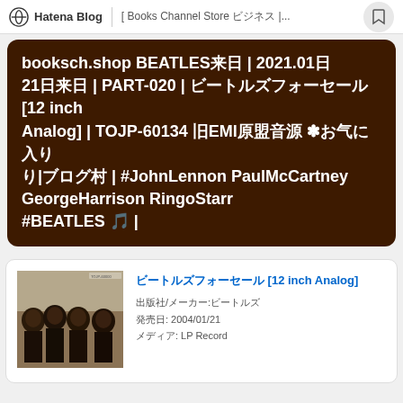Hatena Blog | [ Books Channel Store ビジネス |...
booksch.shop BEATLES来日 | 2021.01.21来日 | PART-020 | ビートルズフォーセール [12 inch Analog] | TOJP-60134 旧EMI原盤音源 ✿お気に入り|ブログ村 | #JohnLennon PaulMcCartney GeorgeHarrison RingoStarr #BEATLES 🎵 |
[Figure (photo): Beatles For Sale album cover showing the four Beatles band members]
ビートルズフォーセール [12 inch Analog]
出版社/メーカー:ビートルズ
発売日: 2004/01/21
メディア: LP Record